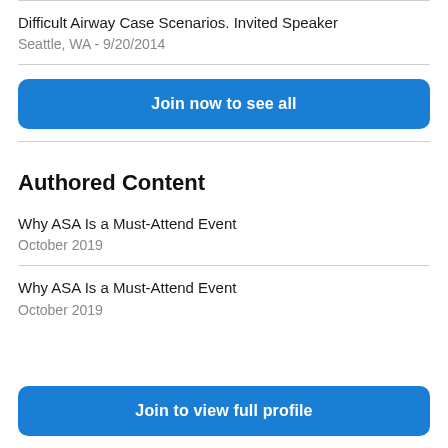Difficult Airway Case Scenarios. Invited Speaker
Seattle, WA - 9/20/2014
Join now to see all
Authored Content
Why ASA Is a Must-Attend Event
October 2019
Why ASA Is a Must-Attend Event
October 2019
Join to view full profile